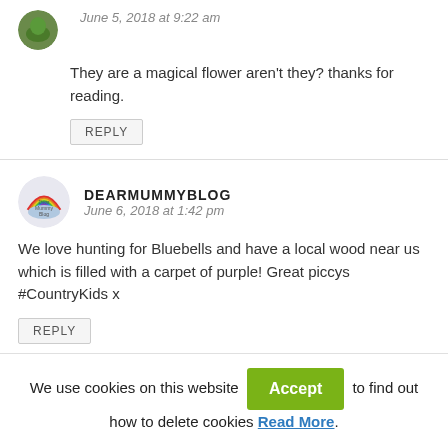June 5, 2018 at 9:22 am
They are a magical flower aren't they? thanks for reading.
REPLY
DEARMUMMYBLOG
June 6, 2018 at 1:42 pm
We love hunting for Bluebells and have a local wood near us which is filled with a carpet of purple! Great piccys #CountryKids x
REPLY
We use cookies on this website Accept to find out how to delete cookies Read More.